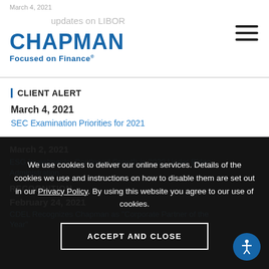March 4, 2021 — Chapman Focused on Finance
CLIENT ALERT
March 4, 2021
SEC Examination Priorities for 2021
CHAPMAN INSIGHTS
March 2, 2021
ESG Investments: Continued Growth in 2020 Under Biden Administration
RECOGNITION
February 24, 2021
CDEL Recognizes Chapman as "Corporate Partner of the Year"
We use cookies to deliver our online services. Details of the cookies we use and instructions on how to disable them are set out in our Privacy Policy. By using this website you agree to our use of cookies.
ACCEPT AND CLOSE